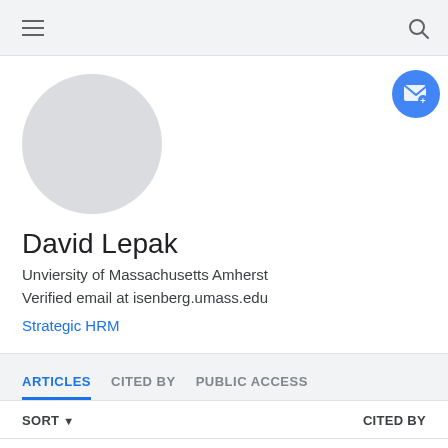≡  🔍
[Figure (illustration): Circular grey avatar placeholder for profile photo]
David Lepak
Unviersity of Massachusetts Amherst
Verified email at isenberg.umass.edu
Strategic HRM
ARTICLES   CITED BY   PUBLIC ACCESS
SORT ▼   CITED BY
The human resource architecture: Toward a theory   4366